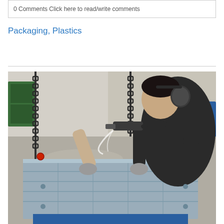0 Comments Click here to read/write comments
Packaging, Plastics
[Figure (photo): A worker wearing ear protection and gloves uses a Cold Jet dry ice blasting tool to clean a large metal mold suspended by chains in an industrial facility.]